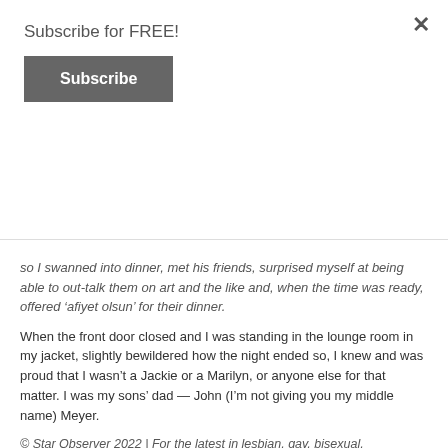Subscribe for FREE!
Subscribe
so I swanned into dinner, met his friends, surprised myself at being able to out-talk them on art and the like and, when the time was ready, offered ‘afiyet olsun’ for their dinner.
When the front door closed and I was standing in the lounge room in my jacket, slightly bewildered how the night ended so, I knew and was proud that I wasn’t a Jackie or a Marilyn, or anyone else for that matter. I was my sons’ dad — John (I’m not giving you my middle name) Meyer.
© Star Observer 2022 | For the latest in lesbian, gay, bisexual, transgender, queer and intersex (LGBTIQ) news in Australia, be sure to visit starobserver.com.au daily. You can